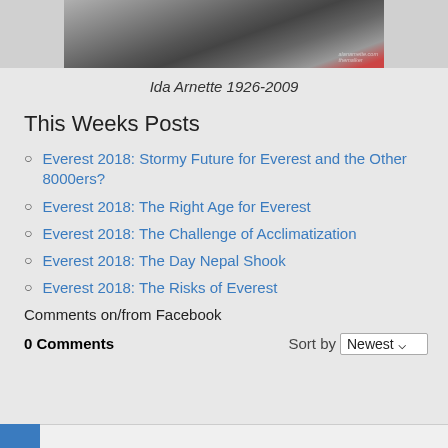[Figure (photo): Partial photo of a person, cropped at top, dark tones]
Ida Arnette 1926-2009
This Weeks Posts
Everest 2018: Stormy Future for Everest and the Other 8000ers?
Everest 2018: The Right Age for Everest
Everest 2018: The Challenge of Acclimatization
Everest 2018: The Day Nepal Shook
Everest 2018: The Risks of Everest
Comments on/from Facebook
0 Comments    Sort by  Newest